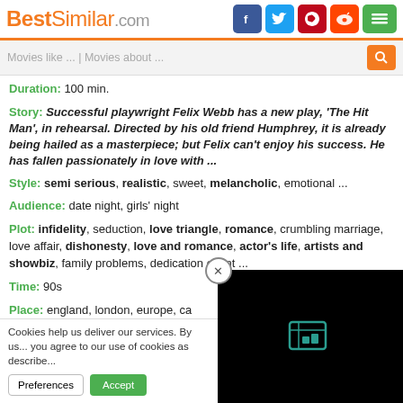BestSimilar.com
Duration: 100 min.
Story: Successful playwright Felix Webb has a new play, 'The Hit Man', in rehearsal. Directed by his old friend Humphrey, it is already being hailed as a masterpiece; but Felix can't enjoy his success. He has fallen passionately in love with ...
Style: semi serious, realistic, sweet, melancholic, emotional ...
Audience: date night, girls' night
Plot: infidelity, seduction, love triangle, romance, crumbling marriage, love affair, dishonesty, love and romance, actor's life, artists and showbiz, family problems, dedication event ...
Time: 90s
Place: england, london, europe, ca...
Cookies help us deliver our services. By us... you agree to our use of cookies as describe...